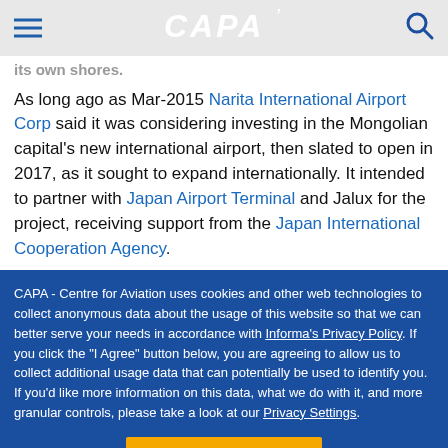CAPA
its own shores.
As long ago as Mar-2015 Narita International Airport Corp said it was considering investing in the Mongolian capital's new international airport, then slated to open in 2017, as it sought to expand internationally. It intended to partner with Japan Airport Terminal and Jalux for the project, receiving support from the Japan International Cooperation Agency.
CAPA - Centre for Aviation uses cookies and other web technologies to collect anonymous data about the usage of this website so that we can better serve your needs in accordance with Informa's Privacy Policy. If you click the "I Agree" button below, you are agreeing to allow us to collect additional usage data that can potentially be used to identify you. If you'd like more information on this data, what we do with it, and more granular controls, please take a look at our Privacy Settings.